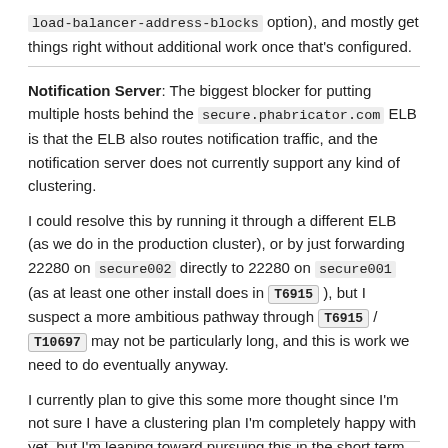load-balancer-address-blocks option), and mostly get things right without additional work once that's configured.
Notification Server: The biggest blocker for putting multiple hosts behind the secure.phabricator.com ELB is that the ELB also routes notification traffic, and the notification server does not currently support any kind of clustering.
I could resolve this by running it through a different ELB (as we do in the production cluster), or by just forwarding 22280 on secure002 directly to 22280 on secure001 (as at least one other install does in T6915 ), but I suspect a more ambitious pathway through T6915 / T10697 may not be particularly long, and this is work we need to do eventually anyway.
I currently plan to give this some more thought since I'm not sure I have a clustering plan I'm completely happy with yet, but I'm leaning toward pursuing this in the short term.